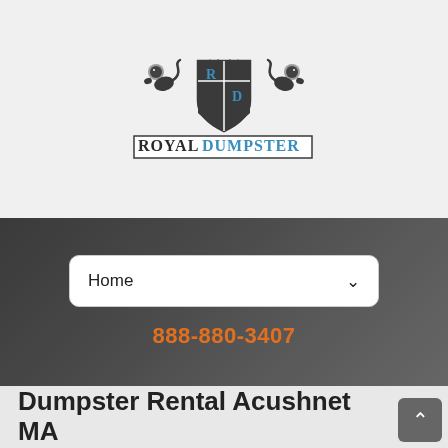[Figure (logo): Royal Dumpster logo with heraldic crest featuring two lions, a crown, and a checkered shield with R and D letters, above the text ROYAL DUMPSTER in dark and blue lettering]
Home
888-880-3407
Dumpster Rental Acushnet MA